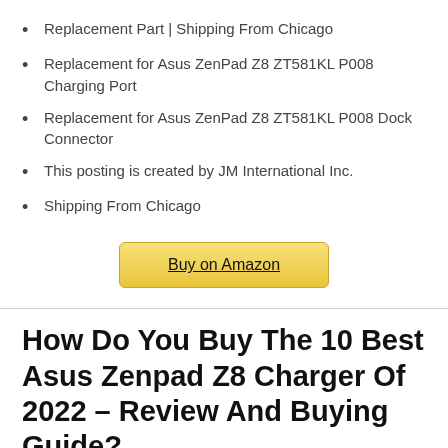Replacement Part | Shipping From Chicago
Replacement for Asus ZenPad Z8 ZT581KL P008 Charging Port
Replacement for Asus ZenPad Z8 ZT581KL P008 Dock Connector
This posting is created by JM International Inc.
Shipping From Chicago
Buy on Amazon
How Do You Buy The 10 Best Asus Zenpad Z8 Charger Of 2022 – Review And Buying Guide?